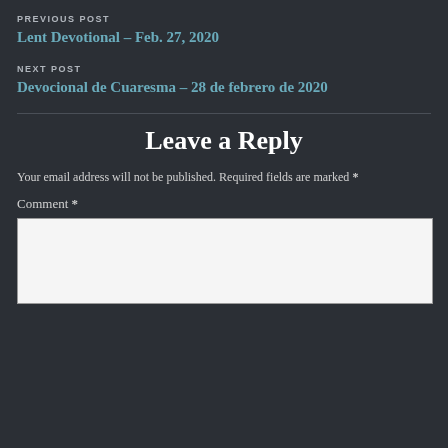PREVIOUS POST
Lent Devotional – Feb. 27, 2020
NEXT POST
Devocional de Cuaresma – 28 de febrero de 2020
Leave a Reply
Your email address will not be published. Required fields are marked *
Comment *